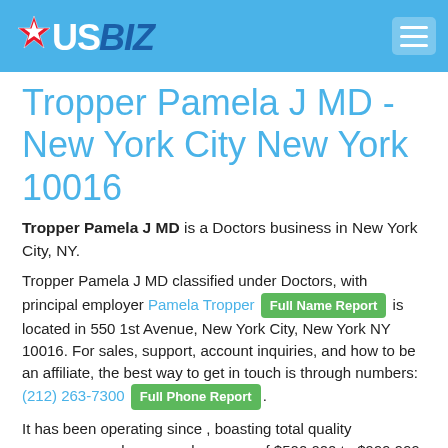USBIZ
Tropper Pamela J MD - New York City New York 10016
Tropper Pamela J MD is a Doctors business in New York City, NY.
Tropper Pamela J MD classified under Doctors, with principal employer Pamela Tropper [Full Name Report] is located in 550 1st Avenue, New York City, New York NY 10016. For sales, support, account inquiries, and how to be an affiliate, the best way to get in touch is through numbers: (212) 263-7300 [Full Phone Report].
It has been operating since , boasting total quality assurance, and an annual revenue of $500.000 to $999.999. Their Single Location can be reached with the use of the following coordinates: